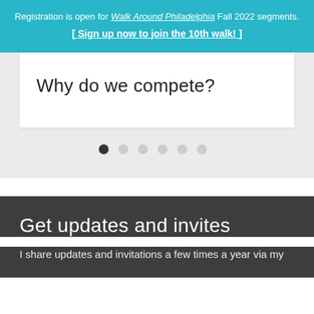Registration is open for Walk Around Philadelphia Fall 2022 segments. [ Sign up now to join the 10th walk! ]
Why do we compete?
[Figure (other): Slideshow pagination dots — 6 dots, first one active (dark), rest light gray]
Get updates and invites
I share updates and invitations a few times a year via my